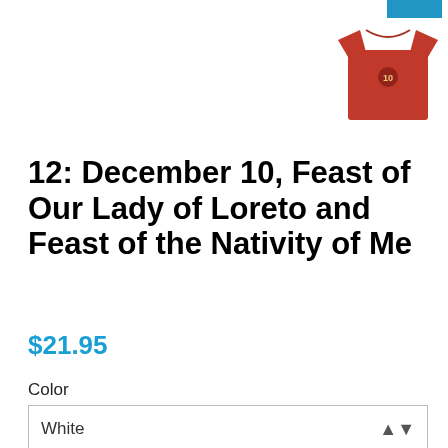[Figure (photo): Red t-shirt with small circular logo on chest, shown as product thumbnail in upper right corner]
12: December 10, Feast of Our Lady of Loreto and Feast of the Nativity of Me
$21.95
Color
White
Size